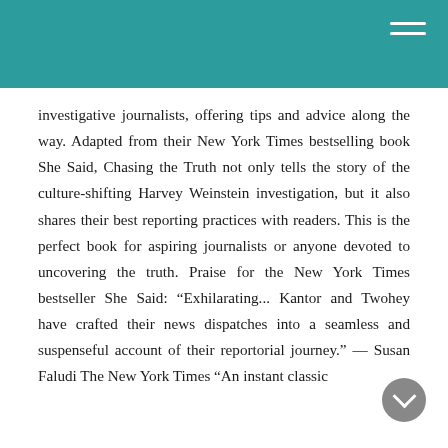investigative journalists, offering tips and advice along the way. Adapted from their New York Times bestselling book She Said, Chasing the Truth not only tells the story of the culture-shifting Harvey Weinstein investigation, but it also shares their best reporting practices with readers. This is the perfect book for aspiring journalists or anyone devoted to uncovering the truth. Praise for the New York Times bestseller She Said: “Exhilarating... Kantor and Twohey have crafted their news dispatches into a seamless and suspenseful account of their reportorial journey.” — Susan Faludi The New York Times “An instant classic